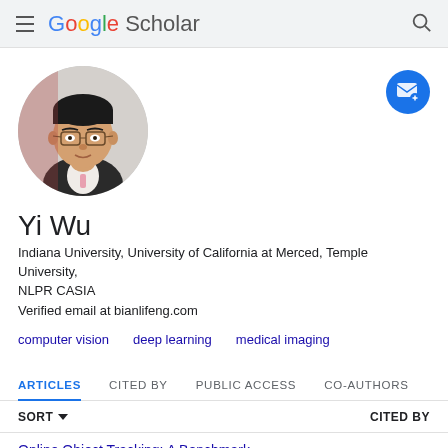Google Scholar
[Figure (photo): Circular profile photo of Yi Wu, an Asian man with glasses wearing a dark suit and pink tie, against a blurred red background.]
Yi Wu
Indiana University, University of California at Merced, Temple University, NLPR CASIA
Verified email at bianlifeng.com
computer vision
deep learning
medical imaging
ARTICLES   CITED BY   PUBLIC ACCESS   CO-AUTHORS
SORT ▼   CITED BY
Online Object Tracking: A Benchmark ...